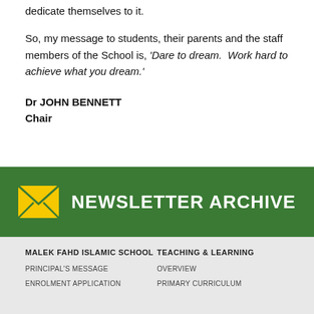dedicate themselves to it.
So, my message to students, their parents and the staff members of the School is, 'Dare to dream.  Work hard to achieve what you dream.'
Dr JOHN BENNETT
Chair
[Figure (infographic): Newsletter Archive banner with yellow envelope icon and white bold text 'NEWSLETTER ARCHIVE' on green background]
MALEK FAHD ISLAMIC SCHOOL
TEACHING & LEARNING
PRINCIPAL'S MESSAGE
OVERVIEW
ENROLMENT APPLICATION
PRIMARY CURRICULUM